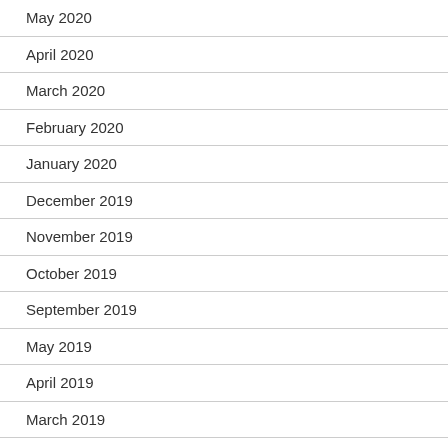May 2020
April 2020
March 2020
February 2020
January 2020
December 2019
November 2019
October 2019
September 2019
May 2019
April 2019
March 2019
December 2018